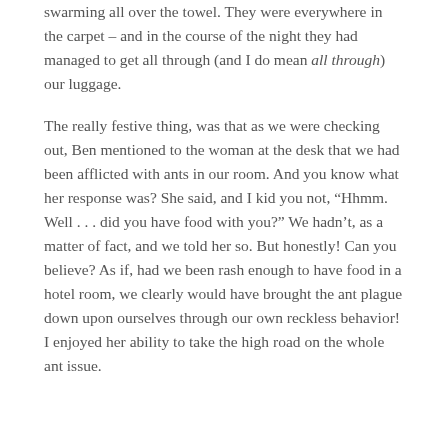swarming all over the towel. They were everywhere in the carpet – and in the course of the night they had managed to get all through (and I do mean all through) our luggage.
The really festive thing, was that as we were checking out, Ben mentioned to the woman at the desk that we had been afflicted with ants in our room. And you know what her response was? She said, and I kid you not, “Hhmm. Well . . . did you have food with you?” We hadn’t, as a matter of fact, and we told her so. But honestly! Can you believe? As if, had we been rash enough to have food in a hotel room, we clearly would have brought the ant plague down upon ourselves through our own reckless behavior! I enjoyed her ability to take the high road on the whole ant issue.